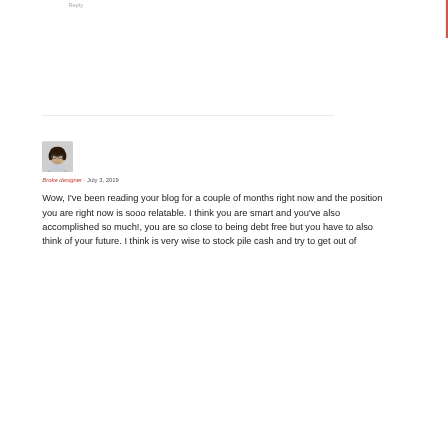Reply
[Figure (photo): Avatar photo of a person with dark hair and glasses, small profile picture]
Broke designer · July 3, 2019
Wow, I've been reading your blog for a couple of months right now and the position you are right now is sooo relatable. I think you are smart and you've also accomplished so much!, you are so close to being debt free but you have to also think of your future. I think is very wise to stock pile cash and try to get out of